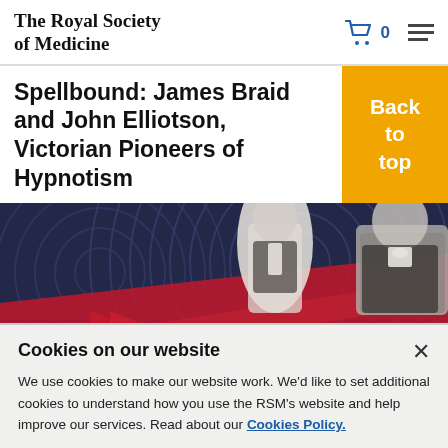The Royal Society of Medicine
Spellbound: James Braid and John Elliotson, Victorian Pioneers of Hypnotism
[Figure (illustration): Banner image showing two Victorian-era portrait photographs of men in formal attire, overlaid on a dark swirling hypnotic pattern background with a red diagonal stripe and arrow graphic]
Webinar
Cookies on our website
We use cookies to make our website work. We'd like to set additional cookies to understand how you use the RSM's website and help improve our services. Read about our Cookies Policy.